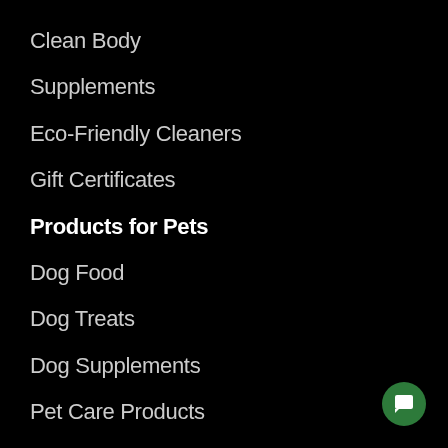Clean Body
Supplements
Eco-Friendly Cleaners
Gift Certificates
Products for Pets
Dog Food
Dog Treats
Dog Supplements
Pet Care Products
Cat Food
Cat Treats
Cat Supplements
Gift Ideas